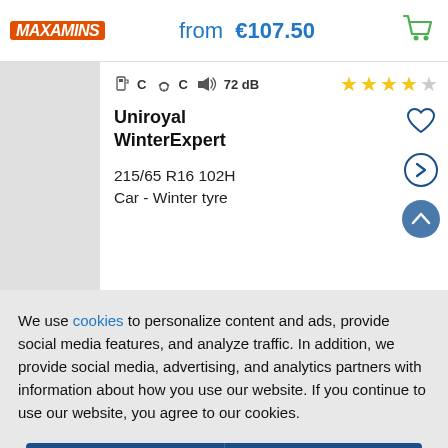from €107.50
[Figure (other): Tyre product card showing Uniroyal WinterExpert 215/65 R16 102H, Car Winter tyre with fuel C, wet grip C, noise 72 dB ratings and 4-star review]
We use cookies to personalize content and ads, provide social media features, and analyze traffic. In addition, we provide social media, advertising, and analytics partners with information about how you use our website. If you continue to use our website, you agree to our cookies.
Edit setting | Accept